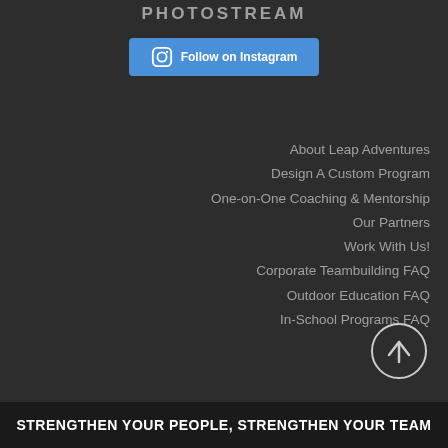PHOTOSTREAM
[Figure (illustration): Blue Instagram follow button with Instagram icon and text 'Follow on Instagram']
About Leap Adventures
Design A Custom Program
One-on-One Coaching & Mentorship
Our Partners
Work With Us!
Corporate Teambuilding FAQ
Outdoor Education FAQ
In-School Programs FAQ
[Figure (illustration): Circular scroll-to-top button with upward arrow icon]
STRENGTHEN YOUR PEOPLE, STRENGTHEN YOUR TEAM